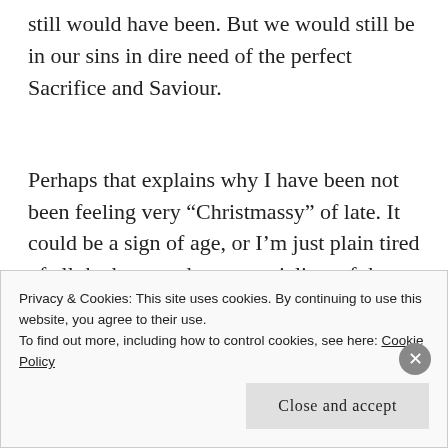still would have been. But we would still be in our sins in dire need of the perfect Sacrifice and Saviour.
Perhaps that explains why I have been not been feeling very “Christmassy” of late. It could be a sign of age, or I’m just plain tired of all the hype and commercialism of the season. And no, I am not one of those who refuse to celebrate Christmas because
Privacy & Cookies: This site uses cookies. By continuing to use this website, you agree to their use.
To find out more, including how to control cookies, see here: Cookie Policy
Close and accept